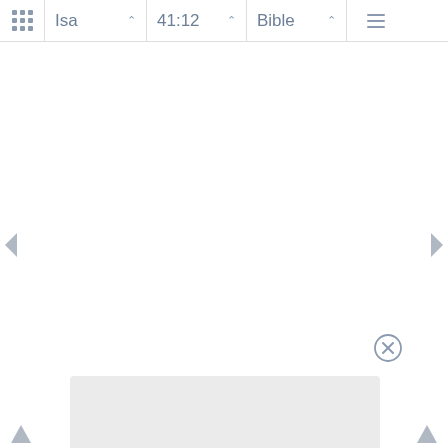[Figure (screenshot): Bible app navigation bar with grid/apps icon, book selector showing 'Isa', verse selector showing '41:12', version selector showing 'Bible', and hamburger menu icon. Below is a mostly blank content area with left and right navigation arrows, a close (X) button, a light gray bottom panel, and bottom navigation arrows.]